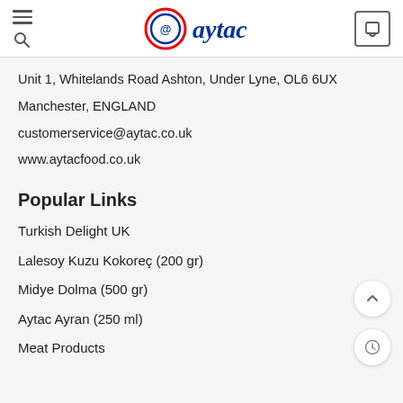@aytac — navigation header with hamburger menu, logo, and cart icon
Unit 1, Whitelands Road Ashton, Under Lyne, OL6 6UX
Manchester, ENGLAND
customerservice@aytac.co.uk
www.aytacfood.co.uk
Popular Links
Turkish Delight UK
Lalesoy Kuzu Kokoreç (200 gr)
Midye Dolma (500 gr)
Aytac Ayran (250 ml)
Meat Products